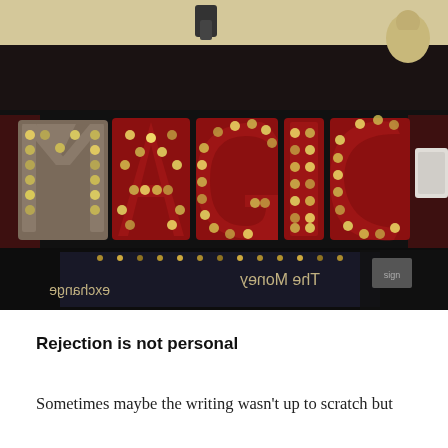[Figure (photo): Photograph of a storefront sign spelling 'MAGIC' in large marquee-style letters with light bulbs. The letters are dark red and metallic, with multiple Edison-style bulbs arranged across them. Below the main sign are additional lights and a mirror-reversed sign reading 'The Money' and 'exchange'. A spotlight is mounted above the sign, and a stone statue is visible in the upper right corner.]
Rejection is not personal
Sometimes maybe the writing wasn't up to scratch but